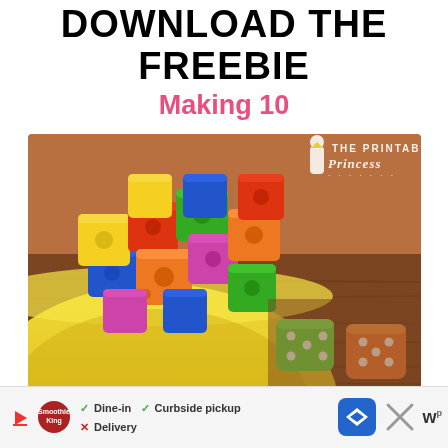DOWNLOAD THE FREEBIE
Making 10
[Figure (photo): A yellow bowl filled with colorful connecting cubes (snap cubes) in red, orange, yellow, green, blue, and purple, placed on a dark wood surface. Two dice are visible on the table — one green and one orange. A watermark reading 'The Printable Princess' appears in the upper right of the photo.]
Dine-in  Curbside pickup  Delivery